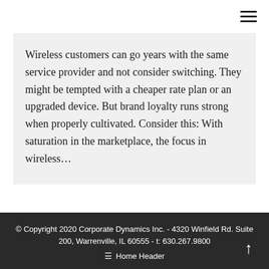Wireless customers can go years with the same service provider and not consider switching. They might be tempted with a cheaper rate plan or an upgraded device. But brand loyalty runs strong when properly cultivated. Consider this: With saturation in the marketplace, the focus in wireless…
© Copyright 2020 Corporate Dynamics Inc. - 4320 Winfield Rd. Suite 200, Warrenville, IL 60555 - t: 630.267.9800
☰ Home Header